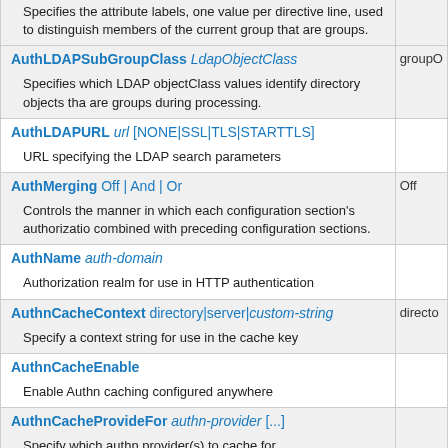| Directive | Default |
| --- | --- |
| Specifies the attribute labels, one value per directive line, used to distinguish members of the current group that are groups. |  |
| AuthLDAPSubGroupClass LdapObjectClass | groupOf... |
| Specifies which LDAP objectClass values identify directory objects that are groups during processing. |  |
| AuthLDAPURL url [NONE|SSL|TLS|STARTTLS] |  |
| URL specifying the LDAP search parameters |  |
| AuthMerging Off | And | Or | Off |
| Controls the manner in which each configuration section's authorization logic is combined with preceding configuration sections. |  |
| AuthName auth-domain |  |
| Authorization realm for use in HTTP authentication |  |
| AuthnCacheContext directory|server|custom-string | directo... |
| Specify a context string for use in the cache key |  |
| AuthnCacheEnable |  |
| Enable Authn caching configured anywhere |  |
| AuthnCacheProvideFor authn-provider [...] |  |
| Specify which authn provider(s) to cache for |  |
| AuthnCacheSOCache provider-name[:provider-args] |  |
| Select socache backend provider to use |  |
| AuthnCacheTimeout timeout (seconds) | 300 (5... |
| Set a timeout for cache entries |  |
| <AuthnProviderAlias baseProvider Alias> ... |  |